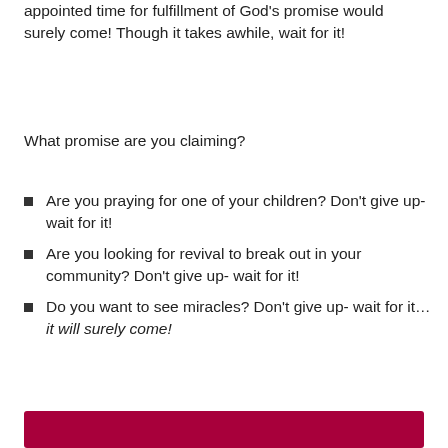appointed time for fulfillment of God's promise would surely come!  Though it takes awhile, wait for it!
What promise are you claiming?
Are you praying for one of your children?  Don't give up- wait for it!
Are you looking for revival to break out in your community?  Don't give up- wait for it!
Do you want to see miracles? Don't give up- wait for it… it will surely come!
[Figure (other): Dark red/crimson horizontal bar at the bottom of the page]